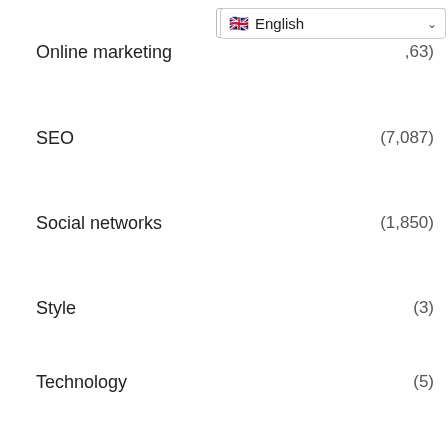Online marketing (,63)
SEO (7,087)
Social networks (1,850)
Style (3)
Technology (5)
Uncategorized (2)
POPULAR POSTS
[Figure (screenshot): Welcome popup with avatar photo, text 'Welcome to az-emarketing.com!' and 'Welcome to Our Store', close button X, and send/arrow button with badge 0]
Google Search Timer & Stopwatch Started Ticking A…
August 17, 2022
Daily Search Forum Recap: August 17, 2022
August 17, 2022